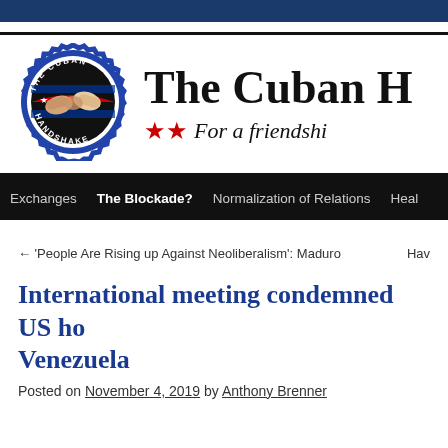The Cuban Handshake — For a friendship
[Figure (logo): The Cuban Handshake circular logo with handshake, US and Cuban flags, blue badge border]
Navigation: Exchanges | The Blockade? | Normalization of Relations | Heal
← 'People Are Rising up Against Neoliberalism': Maduro   Hav
International meeting condemned US ho Venezuela
Posted on November 4, 2019 by Anthony Brenner